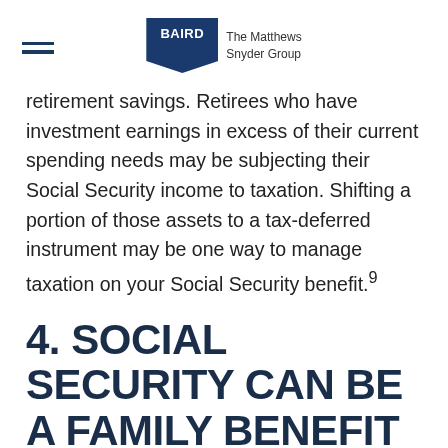BAIRD | The Matthews Snyder Group
retirement savings. Retirees who have investment earnings in excess of their current spending needs may be subjecting their Social Security income to taxation. Shifting a portion of those assets to a tax-deferred instrument may be one way to manage taxation on your Social Security benefit.⁹
4. SOCIAL SECURITY CAN BE A FAMILY BENEFIT
When you start receiving Social Security, other family members may also be eligible for payments.